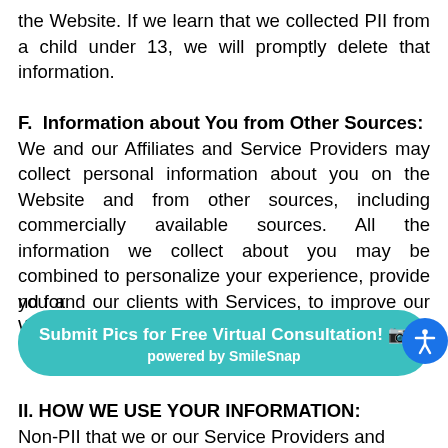the Website. If we learn that we collected PII from a child under 13, we will promptly delete that information.
F. Information about You from Other Sources:
We and our Affiliates and Service Providers may collect personal information about you on the Website and from other sources, including commercially available sources. All the information we collect about you may be combined to personalize your experience, provide you and our clients with Services, to improve our Website and Services, to [... and for]
[Figure (other): Teal rounded banner button with text 'Submit Pics for Free Virtual Consultation! [camera icon]' and 'powered by SmileSnap' below it]
II. HOW WE USE YOUR INFORMATION:
Non-PII that we or our Service Providers and